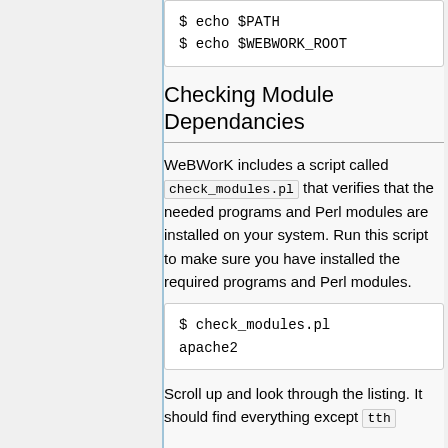$ echo $PATH
$ echo $WEBWORK_ROOT
Checking Module Dependancies
WeBWorK includes a script called check_modules.pl that verifies that the needed programs and Perl modules are installed on your system. Run this script to make sure you have installed the required programs and Perl modules.
$ check_modules.pl apache2
Scroll up and look through the listing. It should find everything except tth